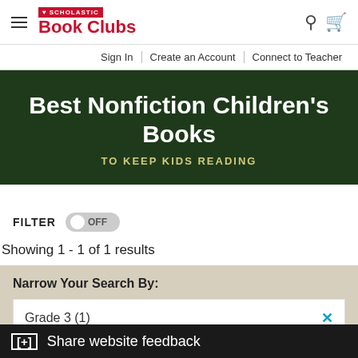[Figure (logo): Scholastic Book Clubs logo with hamburger menu, search icon, and cart icon in header navigation]
Sign In | Create an Account | Connect to Teacher
Best Nonfiction Children's Books
TO KEEP KIDS READING
FILTER OFF
Showing 1 - 1 of 1 results
Narrow Your Search By:
Grade 3 (1)
[+] Share website feedback